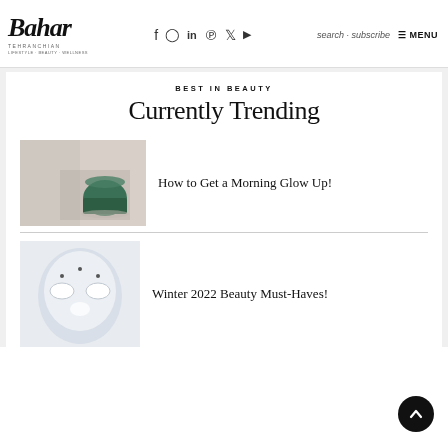Bahar Tehranchian — MENU
BEST IN BEAUTY
Currently Trending
[Figure (photo): A green mug on a table with soft bedding in the background]
How to Get a Morning Glow Up!
[Figure (photo): A white LED light therapy face mask]
Winter 2022 Beauty Must-Haves!